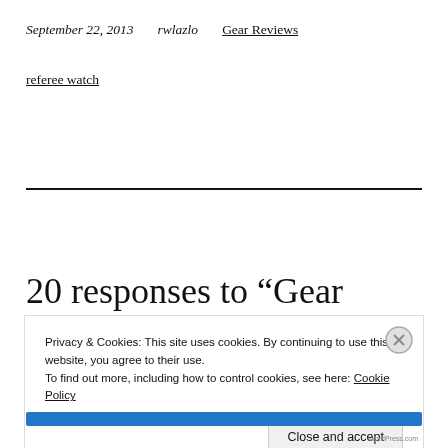September 22, 2013    rwlazlo    Gear Reviews
referee watch
20 responses to “Gear
Privacy & Cookies: This site uses cookies. By continuing to use this website, you agree to their use.
To find out more, including how to control cookies, see here: Cookie Policy
Close and accept